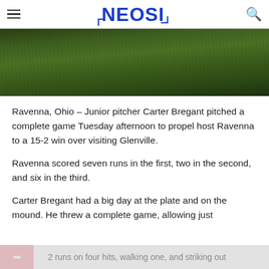NEOSI
[Figure (photo): Close-up photo of a green grass baseball/sports field surface, dark with texture lines visible]
Ravenna, Ohio – Junior pitcher Carter Bregant pitched a complete game Tuesday afternoon to propel host Ravenna to a 15-2 win over visiting Glenville.
Ravenna scored seven runs in the first, two in the second, and six in the third.
Carter Bregant had a big day at the plate and on the mound. He threw a complete game, allowing just
2 runs on four hits, walking one, and striking out